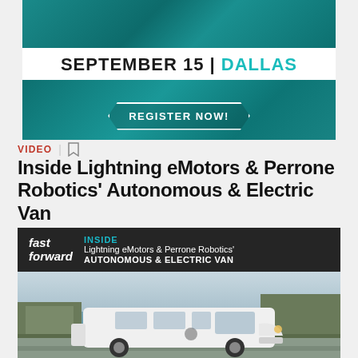[Figure (illustration): Advertisement banner for an event: SEPTEMBER 15 | DALLAS with REGISTER NOW! button on teal background]
VIDEO
Inside Lightning eMotors & Perrone Robotics' Autonomous & Electric Van
[Figure (screenshot): Video thumbnail showing Fast Forward episode about Lightning eMotors & Perrone Robotics' Autonomous & Electric Van, with a white van in an outdoor setting with trees]